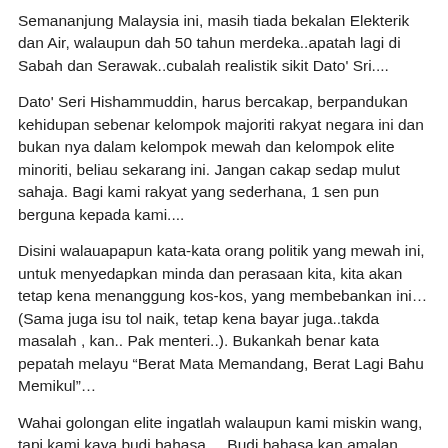Semananjung Malaysia ini, masih tiada bekalan Elekterik dan Air, walaupun dah 50 tahun merdeka..apatah lagi di Sabah dan Serawak..cubalah realistik sikit Dato' Sri....
Dato' Seri Hishammuddin, harus bercakap, berpandukan kehidupan sebenar kelompok majoriti rakyat negara ini dan bukan nya dalam kelompok mewah dan kelompok elite minoriti, beliau sekarang ini. Jangan cakap sedap mulut sahaja. Bagi kami rakyat yang sederhana, 1 sen pun berguna kepada kami....
Disini walauapapun kata-kata orang politik yang mewah ini, untuk menyedapkan minda dan perasaan kita, kita akan tetap kena menanggung kos-kos, yang membebankan ini… (Sama juga isu tol naik, tetap kena bayar juga..takda masalah , kan.. Pak menteri..). Bukankah benar kata pepatah melayu “Berat Mata Memandang, Berat Lagi Bahu Memikul”…
Wahai golongan elite ingatlah walaupun kami miskin wang, tapi kami kaya budi bahasa.... Budi bahasa kan amalan kita....!!!!!! apapun bayar tetap bayar....apa nak buat..? Tepuk